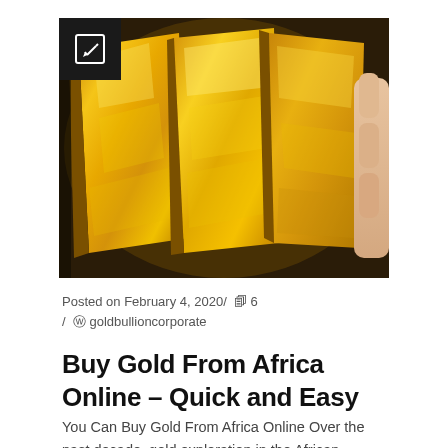[Figure (photo): Three gold bullion bars being held in a hand against a dark background. The bars are shiny, golden yellow, and show casting marks and surface texture.]
Posted on February 4, 2020/ 🖹 6
/ ⊙ goldbullioncorporate
Buy Gold From Africa Online – Quick and Easy
You Can Buy Gold From Africa Online Over the past decade, gold exploration in the African continent has greatly